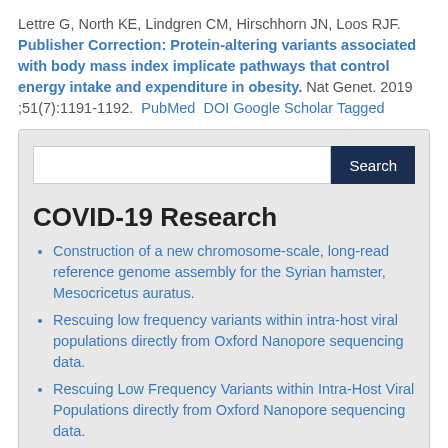Lettre G, North KE, Lindgren CM, Hirschhorn JN, Loos RJF. Publisher Correction: Protein-altering variants associated with body mass index implicate pathways that control energy intake and expenditure in obesity. Nat Genet. 2019 ;51(7):1191-1192. PubMed DOI Google Scholar Tagged
[Figure (screenshot): Search box with a white input field and dark navy Search button]
COVID-19 Research
Construction of a new chromosome-scale, long-read reference genome assembly for the Syrian hamster, Mesocricetus auratus.
Rescuing low frequency variants within intra-host viral populations directly from Oxford Nanopore sequencing data.
Rescuing Low Frequency Variants within Intra-Host Viral Populations directly from Oxford Nanopore sequencing data.
Transmission event of SARS-CoV-2 Delta variant